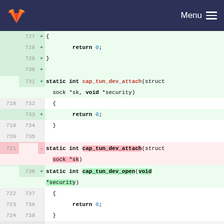[Figure (screenshot): GitLab navigation bar with fox logo and Menu button]
Code diff view showing changes to cap_tun_dev_attach and cap_tun_dev_open functions in a C source file. Lines 727-739 plus truncated context at @@ -1050,8 +1065,11 @@ void __init security_fixup_ops(struct security_operations *ops)
@@ -1050,8 +1065,11 @@ void __init security_fixup_ops(struct security_operations *ops)